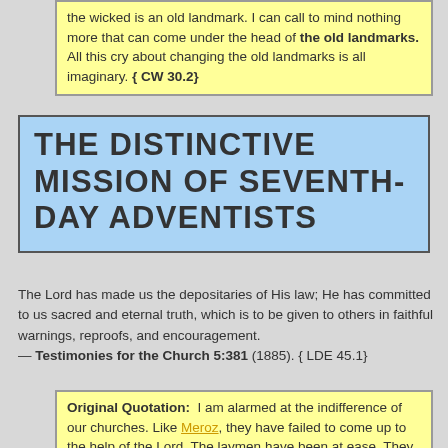the wicked is an old landmark. I can call to mind nothing more that can come under the head of the old landmarks. All this cry about changing the old landmarks is all imaginary. { CW 30.2}
THE DISTINCTIVE MISSION OF SEVENTH-DAY ADVENTISTS
The Lord has made us the depositaries of His law; He has committed to us sacred and eternal truth, which is to be given to others in faithful warnings, reproofs, and encouragement. — Testimonies for the Church 5:381 (1885). { LDE 45.1}
Original Quotation: I am alarmed at the indifference of our churches. Like Meroz, they have failed to come up to the help of the Lord. The laymen have been at ease. They have folded their hands, feeling that the